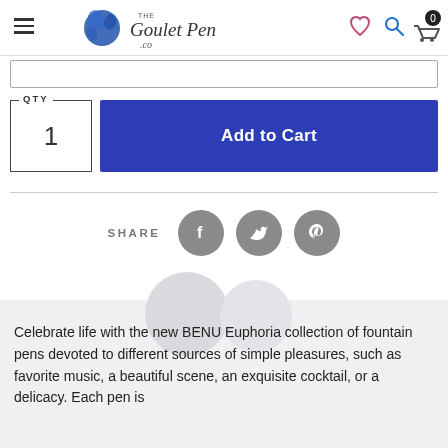The Goulet Pen Co. — Navigation header with hamburger menu, logo, wishlist, search, and cart icons
[Figure (screenshot): Input/search bar area]
QTY
1
Add to Cart
[Figure (infographic): SHARE section with Facebook, Twitter, and Pinterest social icons]
Celebrate life with the new BENU Euphoria collection of fountain pens devoted to different sources of simple pleasures, such as favorite music, a beautiful scene, an exquisite cocktail, or a delicacy. Each pen is